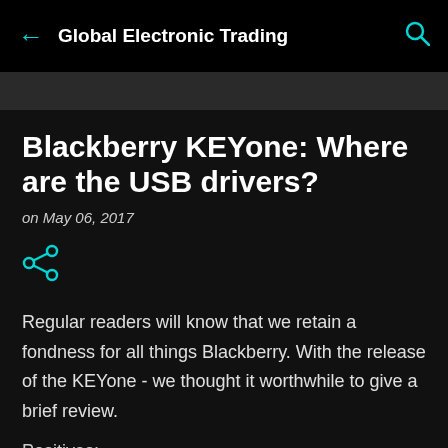Global Electronic Trading
Blackberry KEYone: Where are the USB drivers?
on May 06, 2017
[Figure (illustration): Share icon in cyan/teal color]
Regular readers will know that we retain a fondness for all things Blackberry. With the release of the KEYone - we thought it worthwhile to give a brief review.
Positives: